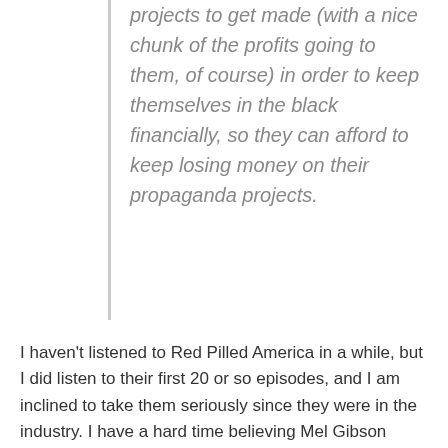projects to get made (with a nice chunk of the profits going to them, of course) in order to keep themselves in the black financially, so they can afford to keep losing money on their propaganda projects.
I haven't listened to Red Pilled America in a while, but I did listen to their first 20 or so episodes, and I am inclined to take them seriously since they were in the industry. I have a hard time believing Mel Gibson didn't have to compromise himself to get in, but his actions and projects the past 15 or so years make me think he's been trying to dig himself out of it. I do believe in forgiveness and redemption.